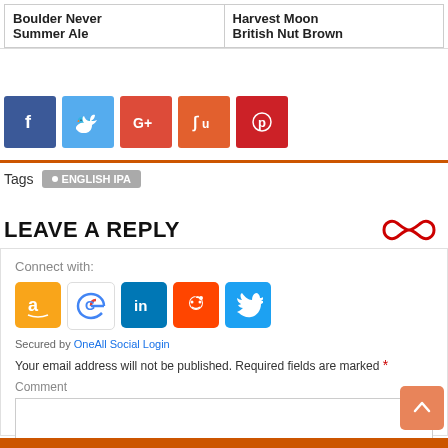| Boulder Never Summer Ale | Harvest Moon British Nut Brown |
[Figure (other): Social share buttons: Facebook (blue), Twitter (light blue), Google+ (red), StumbleUpon (orange), Pinterest (dark red)]
Tags  • ENGLISH IPA
LEAVE A REPLY
Connect with:
[Figure (other): Social login icons: Amazon (orange), Google (white), LinkedIn (blue), Reddit (orange-red), Twitter (blue)]
Secured by OneAll Social Login
Your email address will not be published. Required fields are marked *
Comment